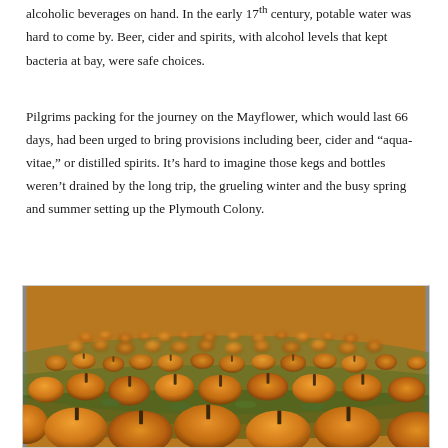alcoholic beverages on hand. In the early 17th century, potable water was hard to come by. Beer, cider and spirits, with alcohol levels that kept bacteria at bay, were safe choices.
Pilgrims packing for the journey on the Mayflower, which would last 66 days, had been urged to bring provisions including beer, cider and “aqua-vitae,” or distilled spirits. It’s hard to imagine those kegs and bottles weren’t drained by the long trip, the grueling winter and the busy spring and summer setting up the Plymouth Colony.
[Figure (photo): A large field filled with hundreds of small orange pumpkins on green grass, photographed from a low angle with shallow depth of field.]